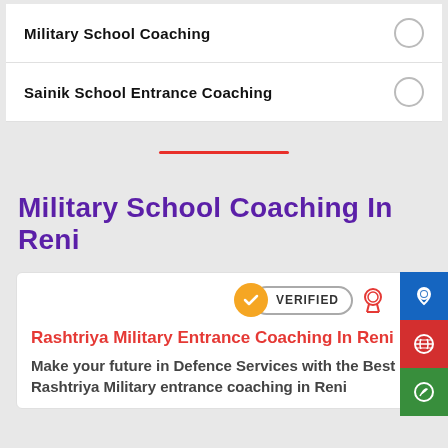Military School Coaching
Sainik School Entrance Coaching
Military School Coaching In Reni
Rashtriya Military Entrance Coaching In Reni
Make your future in Defence Services with the Best Rashtriya Military entrance coaching in Reni